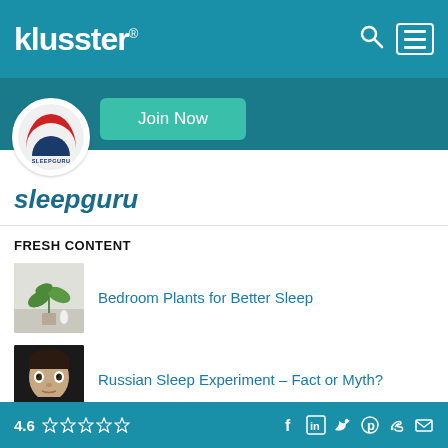klusster®
[Figure (logo): Klusster logo with search and menu icons in teal header bar]
[Figure (illustration): SleepGuru profile avatar with sleep mask logo and Join Now button on teal banner]
sleepguru
FRESH CONTENT
[Figure (photo): Thumbnail image of bedroom plant on white background]
Bedroom Plants for Better Sleep
[Figure (photo): Thumbnail image of man's face looking wide-eyed]
Russian Sleep Experiment – Fact or Myth?
4.6 ☆☆☆☆☆ [social icons: Facebook, LinkedIn, Twitter, Pinterest, Link, Email]